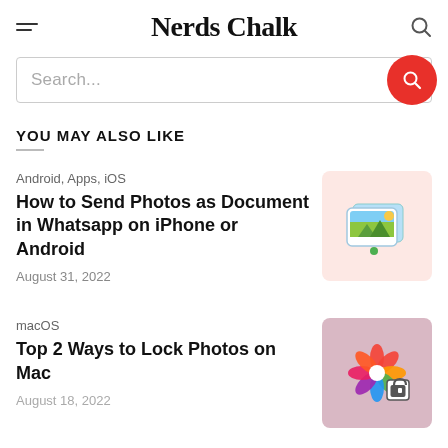Nerds Chalk
Search...
YOU MAY ALSO LIKE
Android, Apps, iOS
How to Send Photos as Document in Whatsapp on iPhone or Android
August 31, 2022
[Figure (illustration): Photo/image icon on pink background]
macOS
Top 2 Ways to Lock Photos on Mac
August 18, 2022
[Figure (illustration): Photos app icon with lock badge on mauve background]